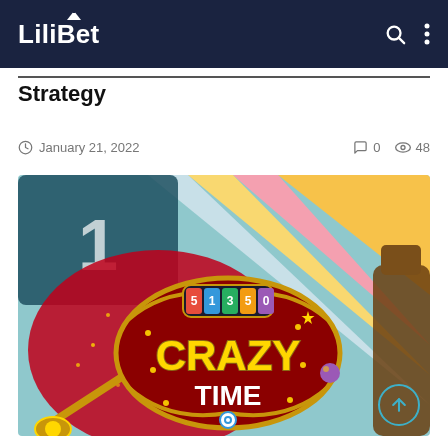LiliBet
Crazy Time Feature Hunt: Winning Strategy
January 21, 2022   0   48
[Figure (photo): Crazy Time casino game promotional image showing the Crazy Time logo with colorful spinning wheel segments in the background]